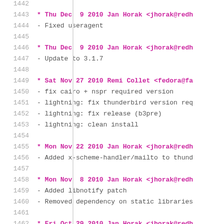1442
1443 * Thu Dec  9 2010 Jan Horak <jhorak@redh
1444 - Fixed useragent
1445
1446 * Thu Dec  9 2010 Jan Horak <jhorak@redh
1447 - Update to 3.1.7
1448
1449 * Sat Nov 27 2010 Remi Collet <fedora@fa
1450 - fix cairo + nspr required version
1451 - lightning: fix thunderbird version req
1452 - lightning: fix release (b3pre)
1453 - lightning: clean install
1454
1455 * Mon Nov 22 2010 Jan Horak <jhorak@redh
1456 - Added x-scheme-handler/mailto to thund
1457
1458 * Mon Nov  8 2010 Jan Horak <jhorak@redh
1459 - Added libnotify patch
1460 - Removed dependency on static libraries
1461
1462 * Fri Oct 29 2010 Jan Horak <jhorak@redh
1463 - Move thunderbird-lightning extension t
1464
1465 * Wed Oct 27 2010 Jan Horak <jhorak@redh
1466 - Update to 3.1.6